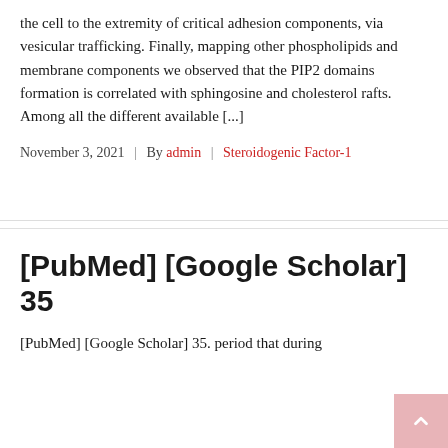the cell to the extremity of critical adhesion components, via vesicular trafficking. Finally, mapping other phospholipids and membrane components we observed that the PIP2 domains formation is correlated with sphingosine and cholesterol rafts. Among all the different available [...]
November 3, 2021 | By admin | Steroidogenic Factor-1
[PubMed] [Google Scholar] 35
[PubMed] [Google Scholar] 35. period that during